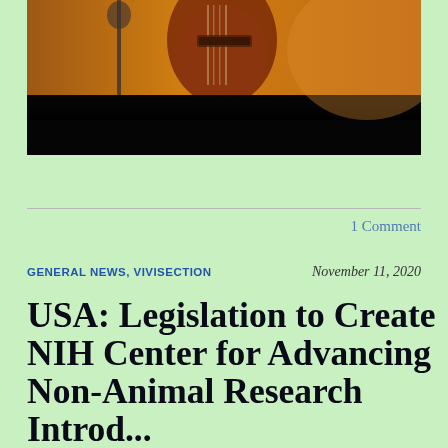[Figure (photo): Close-up photo of a person playing a guitar under warm orange stage lighting, partially obscured with dark lower portion]
1 Comment
GENERAL NEWS, VIVISECTION   November 11, 2020
USA: Legislation to Create NIH Center for Advancing Non-Animal Research Introduced in US Senate